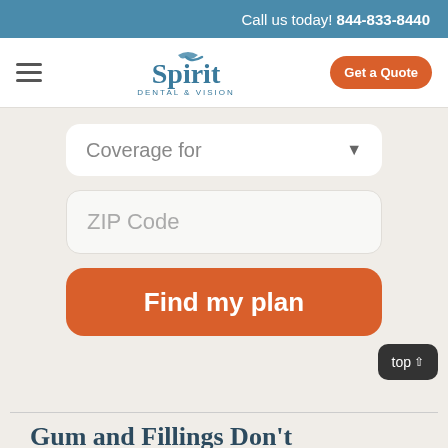Call us today! 844-833-8440
[Figure (logo): Spirit Dental & Vision logo with bird mark]
Get a Quote
Coverage for
ZIP Code
Find my plan
top↑
Gum and Fillings Don't